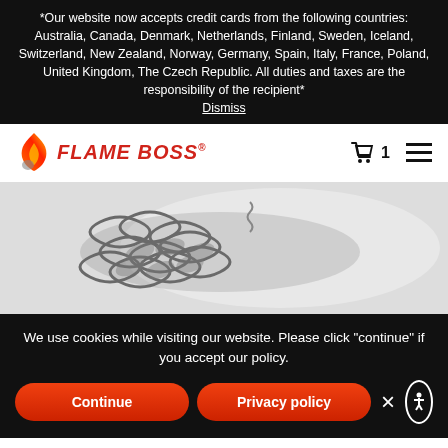*Our website now accepts credit cards from the following countries: Australia, Canada, Denmark, Netherlands, Finland, Sweden, Iceland, Switzerland, New Zealand, Norway, Germany, Spain, Italy, France, Poland, United Kingdom, The Czech Republic. All duties and taxes are the responsibility of the recipient* Dismiss
[Figure (logo): Flame Boss logo with flame icon and red italic bold text 'FLAME BOSS' with registered trademark symbol]
[Figure (photo): Close-up photo of a metal grill brush with twisted wire bristles on a light gray background]
We use cookies while visiting our website. Please click "continue" if you accept our policy.
Continue
Privacy policy